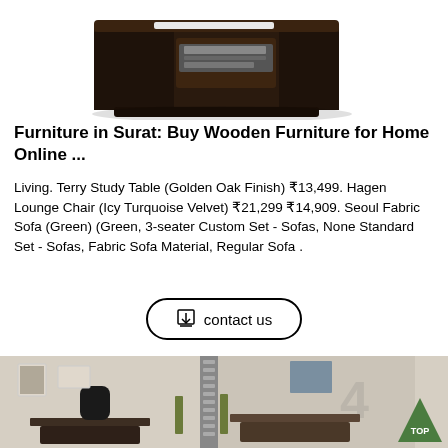[Figure (photo): Dark wooden executive desk/cabinet with open drawer, white background, top portion visible]
Furniture in Surat: Buy Wooden Furniture for Home Online ...
Living. Terry Study Table (Golden Oak Finish) ₹13,499. Hagen Lounge Chair (Icy Turquoise Velvet) ₹21,299 ₹14,909. Seoul Fabric Sofa (Green) (Green, 3-seater Custom Set - Sofas, None Standard Set - Sofas, Fabric Sofa Material, Regular Sofa .
[Figure (other): Contact us button with download icon]
[Figure (photo): Office workstation setup with desks, chairs, green partitions and number 4 on brick wall background]